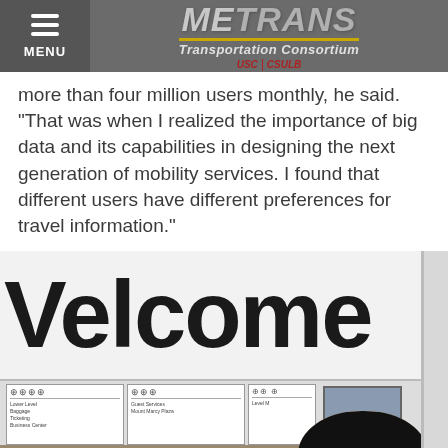METRANS Transportation Consortium
more than four million users monthly, he said. "That was when I realized the importance of big data and its capabilities in designing the next generation of mobility services. I found that different users have different preferences for travel information."
[Figure (photo): Photo of a man standing in front of a Welcome banner at what appears to be a transit station or conference venue. The banner reads 'Welcome' in large bold letters. Directional signage panels are visible behind him.]